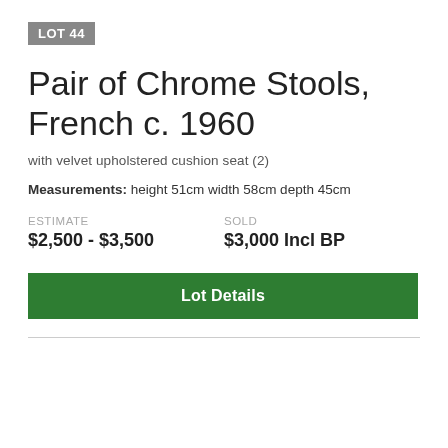LOT 44
Pair of Chrome Stools, French c. 1960
with velvet upholstered cushion seat (2)
Measurements: height 51cm width 58cm depth 45cm
ESTIMATE
$2,500 - $3,500
SOLD
$3,000 Incl BP
Lot Details